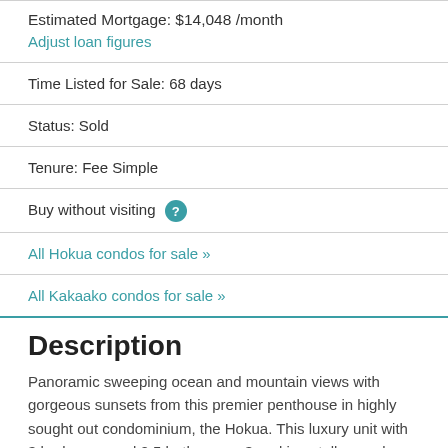Estimated Mortgage: $14,048 /month
Adjust loan figures
Time Listed for Sale: 68 days
Status: Sold
Tenure: Fee Simple
Buy without visiting ?
All Hokua condos for sale »
All Kakaako condos for sale »
Description
Panoramic sweeping ocean and mountain views with gorgeous sunsets from this premier penthouse in highly sought out condominium, the Hokua. This luxury unit with 3 bedrooms and 2.5 bathrooms, 3 parking stalls, ample storage plus a separate laundry room with a